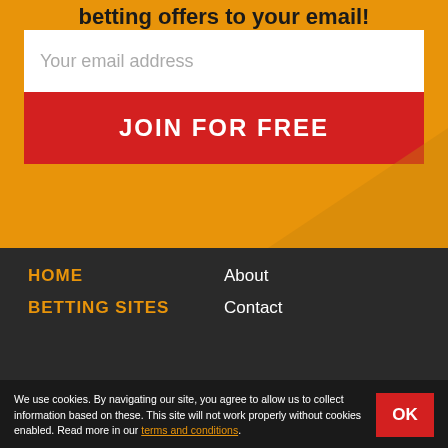betting offers to your email!
Your email address
JOIN FOR FREE
HOME
About
BETTING SITES
Contact
We use cookies. By navigating our site, you agree to allow us to collect information based on these. This site will not work properly without cookies enabled. Read more in our terms and conditions.
OK